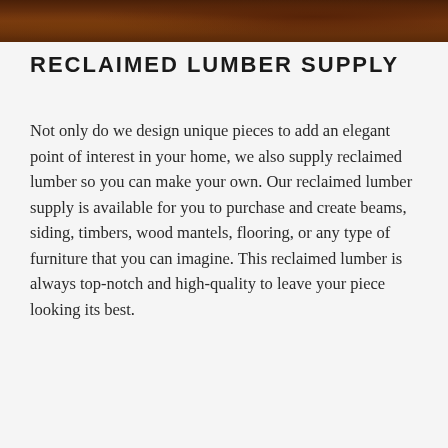[Figure (photo): Close-up photo of dark reddish-brown reclaimed wood texture]
RECLAIMED LUMBER SUPPLY
Not only do we design unique pieces to add an elegant point of interest in your home, we also supply reclaimed lumber so you can make your own. Our reclaimed lumber supply is available for you to purchase and create beams, siding, timbers, wood mantels, flooring, or any type of furniture that you can imagine. This reclaimed lumber is always top-notch and high-quality to leave your piece looking its best.
[Figure (photo): Interior kitchen photo showing white cabinets with decorative molding, orange-tinted ceiling with cove lighting, yellow walls, and a window in the background]